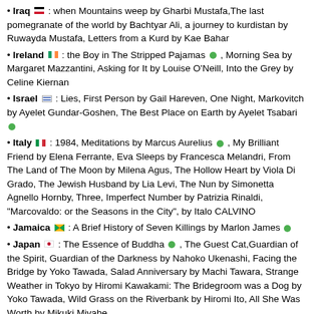Iraq : when Mountains weep by Gharbi Mustafa, The last pomegranate of the world by Bachtyar Ali, a journey to kurdistan by Ruwayda Mustafa, Letters from a Kurd by Kae Bahar
Ireland : the Boy in The Stripped Pajamas , Morning Sea by Margaret Mazzantini, Asking for It by Louise O'Neill, Into the Grey by Celine Kiernan
Israel : Lies, First Person by Gail Hareven, One Night, Markovitch by Ayelet Gundar-Goshen, The Best Place on Earth by Ayelet Tsabari
Italy : 1984, Meditations by Marcus Aurelius , My Brilliant Friend by Elena Ferrante, Eva Sleeps by Francesca Melandri, From The Land of The Moon by Milena Agus, The Hollow Heart by Viola Di Grado, The Jewish Husband by Lia Levi, The Nun by Simonetta Agnello Hornby, Three, Imperfect Number by Patrizia Rinaldi, "Marcovaldo: or the Seasons in the City", by Italo CALVINO
Jamaica : A Brief History of Seven Killings by Marlon James
Japan : The Essence of Buddha , The Guest Cat, Guardian of the Spirit, Guardian of the Darkness by Nahoko Ukenashi, Facing the Bridge by Yoko Tawada, Salad Anniversary by Machi Tawara, Strange Weather in Tokyo by Hiromi Kawakami: The Bridegroom was a Dog by Yoko Tawada, Wild Grass on the Riverbank by Hiromi Ito, All She Was Worth by Mikuki Miyabe